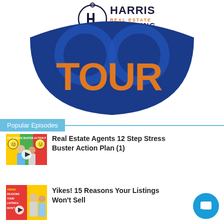[Figure (logo): Harris Real Estate Coaching logo with circular H icon and tour graphic below in dark blue with orange TOUR text]
Popular Episodes
[Figure (photo): Thumbnail for Real Estate Agents 12 Step Stress Buster Action Plan episode showing two people with emoji background]
Real Estate Agents 12 Step Stress Buster Action Plan (1)
[Figure (photo): Thumbnail for Yikes! 15 Reasons Your Listings Won't Sell episode showing two people with yellow/red background]
Yikes! 15 Reasons Your Listings Won't Sell